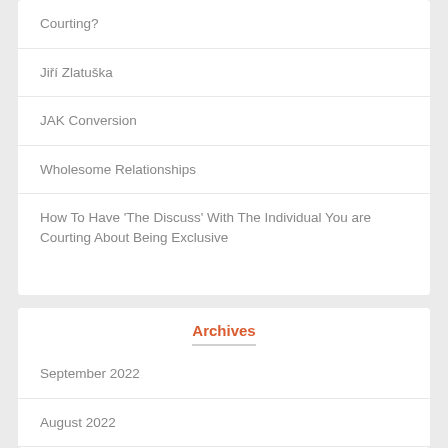Courting?
Jiří Zlatuška
JAK Conversion
Wholesome Relationships
How To Have 'The Discuss' With The Individual You are Courting About Being Exclusive
Archives
September 2022
August 2022
July 2022